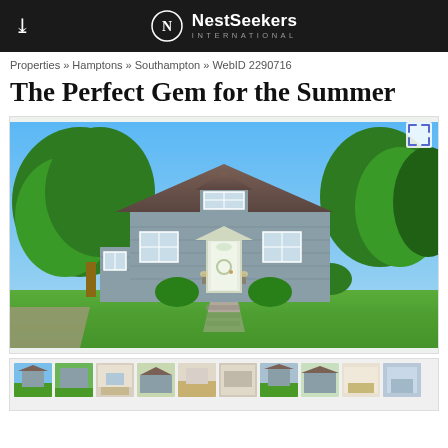NestSeekers INTERNATIONAL
Properties » Hamptons » Southampton » WebID 2290716
The Perfect Gem for the Summer
[Figure (photo): Two-story grey-sided colonial house with white trim, dormer windows, white front door with decorative pediment, surrounded by lush green trees and shrubs on a sunny day with blue sky]
[Figure (photo): Thumbnail strip showing multiple interior and exterior photos of the property]